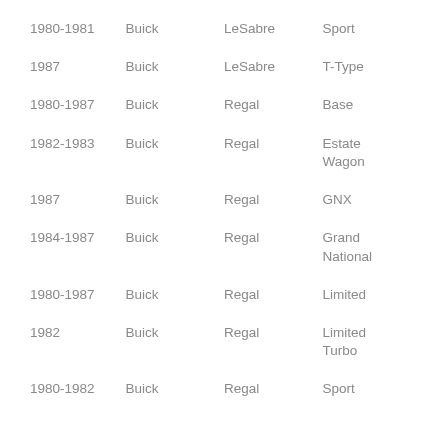| Year | Make | Model | Trim |
| --- | --- | --- | --- |
| 1980-1981 | Buick | LeSabre | Sport |
| 1987 | Buick | LeSabre | T-Type |
| 1980-1987 | Buick | Regal | Base |
| 1982-1983 | Buick | Regal | Estate Wagon |
| 1987 | Buick | Regal | GNX |
| 1984-1987 | Buick | Regal | Grand National |
| 1980-1987 | Buick | Regal | Limited |
| 1982 | Buick | Regal | Limited Turbo |
| 1980-1982 | Buick | Regal | Sport |